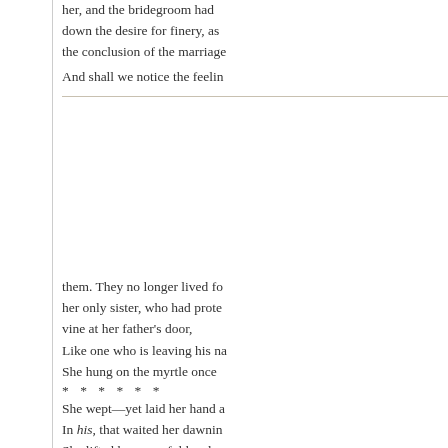her, and the bridegroom had down the desire for finery, as the conclusion of the marriage
And shall we notice the feelin
them. They no longer lived fo her only sister, who had prote vine at her father's door,
Like one who is leaving his na
She hung on the myrtle once
* * * * * *
She wept—yet laid her hand a In his, that waited her dawnin She lifted her graceful head a The choking swell of her hear
What need of farther descripti chained her to the home wher